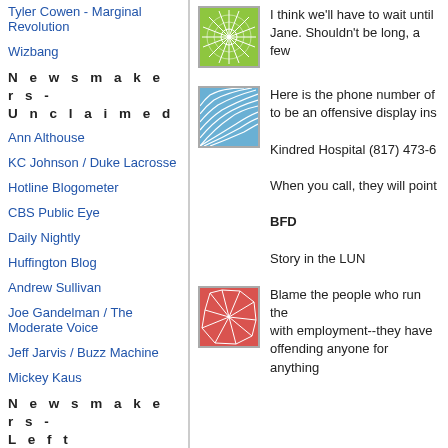Tyler Cowen - Marginal Revolution
Wizbang
N e w s m a k e r s  -  U n c l a i m e d
Ann Althouse
KC Johnson / Duke Lacrosse
Hotline Blogometer
CBS Public Eye
Daily Nightly
Huffington Blog
Andrew Sullivan
Joe Gandelman / The Moderate Voice
Jeff Jarvis / Buzz Machine
Mickey Kaus
N e w s m a k e r s  -  L e f t
Blog For America (And Dean)
[Figure (illustration): Green decorative square thumbnail with starburst/flower pattern]
I think we'll have to wait until Jane. Shouldn't be long, a few
[Figure (illustration): Blue decorative square thumbnail with wave/fan pattern]
Here is the phone number of to be an offensive display ins Kindred Hospital (817) 473-6 When you call, they will point BFD Story in the LUN
[Figure (illustration): Red/pink decorative square thumbnail with cracked/mosaic pattern]